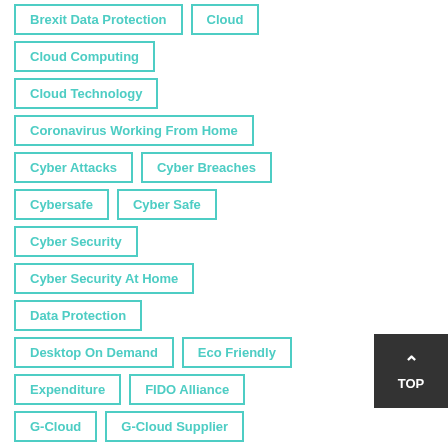Brexit Data Protection
Cloud
Cloud Computing
Cloud Technology
Coronavirus Working From Home
Cyber Attacks
Cyber Breaches
Cybersafe
Cyber Safe
Cyber Security
Cyber Security At Home
Data Protection
Desktop On Demand
Eco Friendly
Expenditure
FIDO Alliance
G-Cloud
G-Cloud Supplier
GDPR
Halloween
Haveibeenpwned